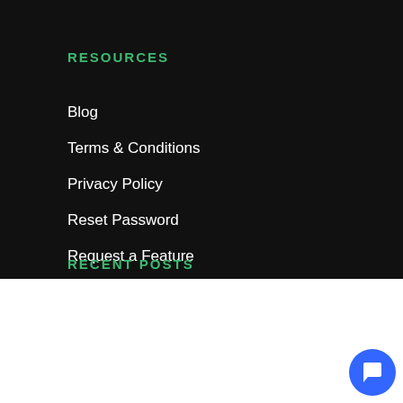RESOURCES
Blog
Terms & Conditions
Privacy Policy
Reset Password
Request a Feature
RECENT POSTS
This website uses cookies to improve your experience. We'll assume you're ok with this, but you can opt-out if you wish.
Cookie settings
ACCEPT